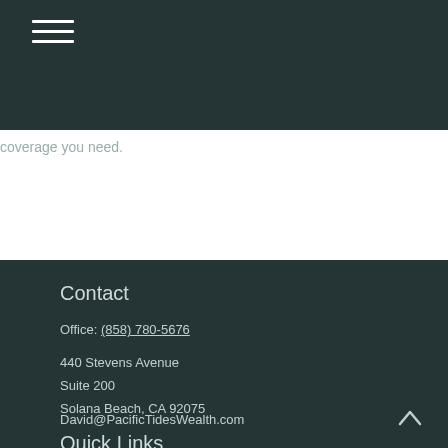coverage you need.
Contact
Office: (858) 780-5676
440 Stevens Avenue
Suite 200
Solana Beach, CA 92075
David@PacificTidesWealth.com
Quick Links